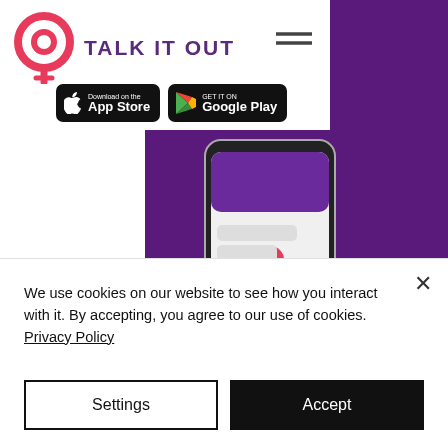[Figure (logo): Talk It Out app logo — red circular icon with Q-like symbol, purple brand name 'TALK IT OUT']
[Figure (screenshot): App Store and Google Play download badges]
[Figure (photo): Smartphone mockup showing the Talk It Out app interface on a purple background, with another device visible on the right edge]
The truth is humans simply aren't designed for the world we live in today. Life's never
We use cookies on our website to see how you interact with it. By accepting, you agree to our use of cookies. Privacy Policy